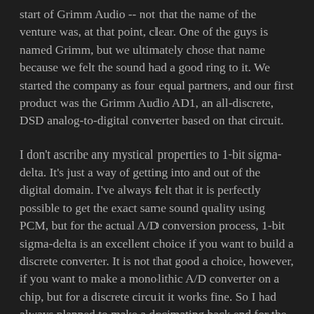start of Grimm Audio -- not that the name of the venture was, at that point, clear. One of the guys is named Grimm, but we ultimately chose that name because we felt the sound had a good ring to it. We started the company as four equal partners, and our first product was the Grimm Audio AD1, an all-discrete, DSD analog-to-digital converter based on that circuit.
I don't ascribe any mystical properties to 1-bit sigma-delta. It's just a way of getting into and out of the digital domain. I've always felt that it is perfectly possible to get the exact same sound quality using PCM, but for the actual A/D conversion process, 1-bit sigma-delta is an excellent choice if you want to build a discrete converter. It is not that good a choice, however, if you want to make a monolithic A/D converter on a chip, but for a discrete circuit it works fine. So I had always planned to make a decimating back end for the AD1, but that never materialized.